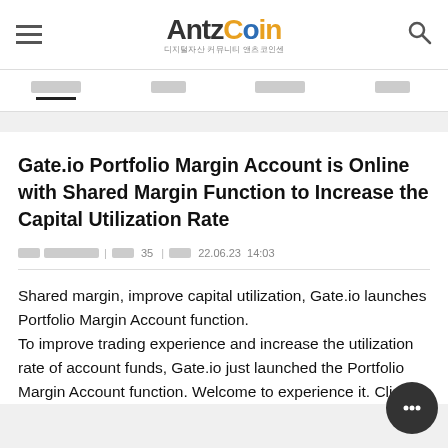AntzCoin 디지털자산 커뮤니티 앤츠코인센
Navigation: [menu] [menu] [menu] [menu]
Gate.io Portfolio Margin Account is Online with Shared Margin Function to Increase the Capital Utilization Rate
카테고리 카테고리카테 | 댓글 35 | 작성일 22.06.23  14:03
Shared margin, improve capital utilization, Gate.io launches Portfolio Margin Account function.
To improve trading experience and increase the utilization rate of account funds, Gate.io just launched the Portfolio Margin Account function. Welcome to experience it. Click